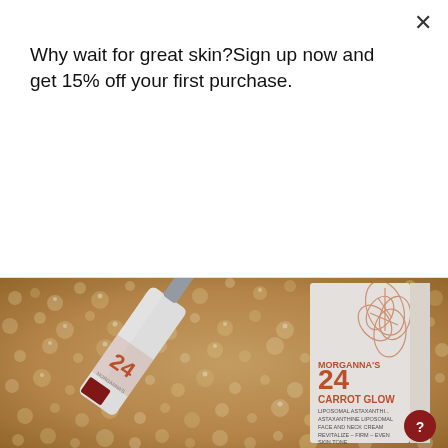Why wait for great skin?Sign up now and get 15% off your first purchase.
Subscribe
[Figure (photo): Product photo of Morganna's 24 Carrot Glow Liposomal Astaxanthine Face and Neck Cream bottle and box lying on golden crystal beads background]